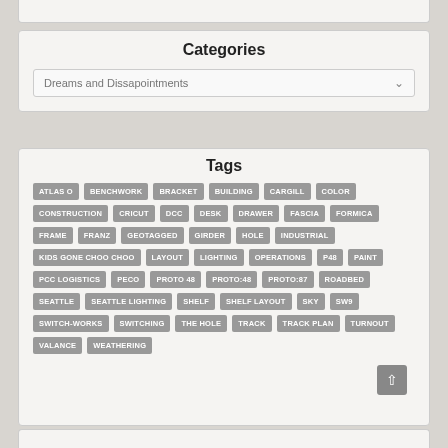Categories
Dreams and Dissapointments
Tags
ATLAS O
BENCHWORK
BRACKET
BUILDING
CARGILL
COLOR
CONSTRUCTION
CRICUT
DCC
DESK
DRAWER
FASCIA
FORMICA
FRAME
FRANZ
GEOTAGGED
GIRDER
HOLE
INDUSTRIAL
KIDS GONE CHOO CHOO
LAYOUT
LIGHTING
OPERATIONS
P48
PAINT
PCC LOGISTICS
PECO
PROTO 48
PROTO:48
PROTO:87
ROADBED
SEATTLE
SEATTLE LIGHTING
SHELF
SHELF LAYOUT
SKY
SW9
SWITCH-WORKS
SWITCHING
THE HOLE
TRACK
TRACK PLAN
TURNOUT
VALANCE
WEATHERING